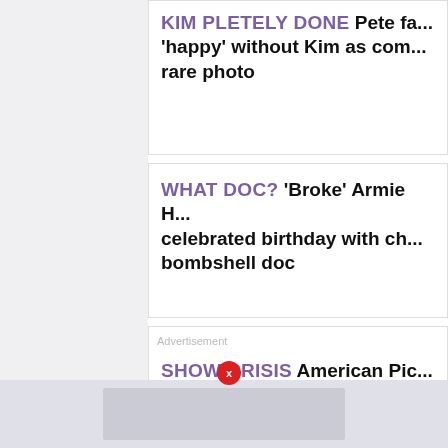KIM PLETELY DONE Pete fa... 'happy' without Kim as com... rare photo
WHAT DOC? 'Broke' Armie H... celebrated birthday with ch... bombshell doc
Advertisement SHOW CRISIS American Pic... new episode after Mike Wo... plummet
OOPS! GMA's Lara suffers b... & co-host Cecilia promises '... mishap